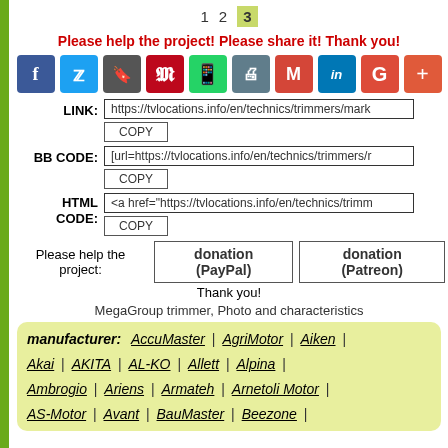1  2  3
Please help the project! Please share it! Thank you!
[Figure (infographic): Row of 10 social sharing icon buttons: Facebook (blue), Twitter (light blue), Bookmark (dark gray), Pinterest (red), WhatsApp (green), Print (teal-gray), Gmail (red), LinkedIn (blue), Google+ (red-orange), Plus (orange-red)]
LINK: https://tvlocations.info/en/technics/trimmers/mark  [COPY button]
BB CODE: [url=https://tvlocations.info/en/technics/trimmers/r  [COPY button]
HTML CODE: <a href="https://tvlocations.info/en/technics/trimm  [COPY button]
Please help the project:  donation (PayPal)  donation (Patreon)
Thank you!
MegaGroup trimmer, Photo and characteristics
manufacturer: AccuMaster | AgriMotor | Aiken | Akai | AKITA | AL-KO | Allett | Alpina | Ambrogio | Ariens | Armateh | Arnetoli Motor | AS-Motor | Avant | BauMaster | Beezone |